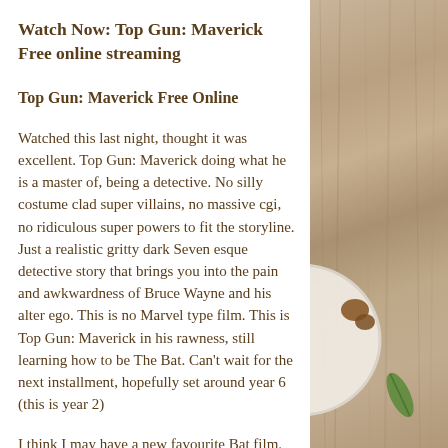Watch Now: Top Gun: Maverick Free online streaming
Top Gun: Maverick Free Online
Watched this last night, thought it was excellent. Top Gun: Maverick doing what he is a master of, being a detective. No silly costume clad super villains, no massive cgi, no ridiculous super powers to fit the storyline. Just a realistic gritty dark Seven esque detective story that brings you into the pain and awkwardness of Bruce Wayne and his alter ego. This is no Marvel type film. This is Top Gun: Maverick in his rawness, still learning how to be The Bat. Can't wait for the next installment, hopefully set around year 6 (this is year 2)
I think I may have a new favourite Bat film. Hits in all the right places, the castings are
[Figure (photo): Right side of page showing a wooden table background with a white plate partially visible containing food items, and a green leaf garnish.]